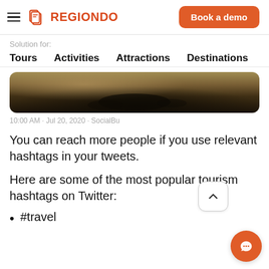REGIONONDO - Book a demo
Solution for:
Tours  Activities  Attractions  Destinations
[Figure (photo): Dark water reflection image, partially visible, clipped at top]
10:00 AM · Jul 20, 2020 · SocialBu
You can reach more people if you use relevant hashtags in your tweets.
Here are some of the most popular tourism hashtags on Twitter:
#travel